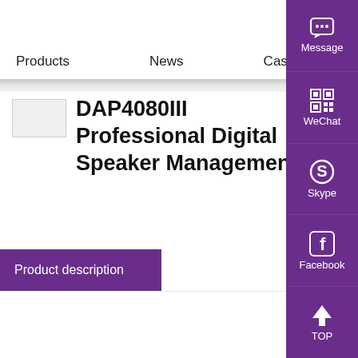Products    News    Case
DAP4080III Professional Digital Speaker Management
Product description
[Figure (other): Right sidebar with social contact icons: Message (chat bubble), WeChat (QR code), Skype (S logo), Facebook (f logo), TOP (up arrow) — all in purple background]